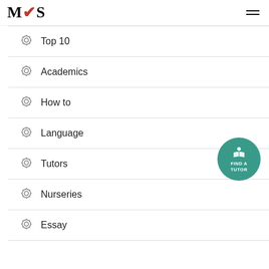[Figure (logo): MTS logo with red feather/pen in the M]
Top 10
Academics
How to
Language
Tutors
Nurseries
Essay
[Figure (illustration): Teal circular button with book icon and text FIND A TUTOR]